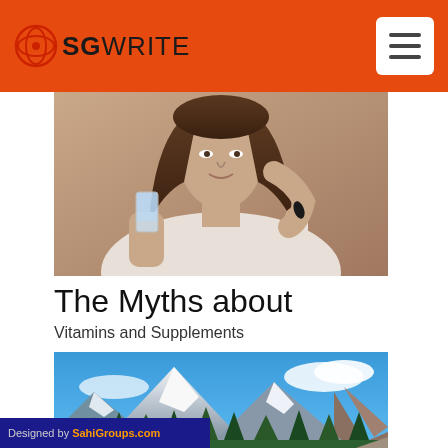SGWrite
[Figure (photo): Young woman holding a glass of water and a supplement pill between her fingers, wearing a white tank top, long brown hair]
The Myths about
Vitamins and Supplements
[Figure (photo): Mountain landscape with snow-capped peaks, evergreen forest, green meadow, river reflection, blue sky with clouds]
Designed by SahiGroups.com